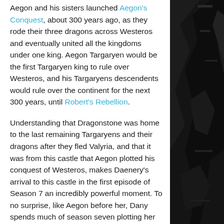Aegon and his sisters launched Aegon's Conquest, about 300 years ago, as they rode their three dragons across Westeros and eventually united all the kingdoms under one king. Aegon Targaryen would be the first Targaryen king to rule over Westeros, and his Targaryens descendents would rule over the continent for the next 300 years, until Robert's Rebellion.
Understanding that Dragonstone was home to the last remaining Targaryens and their dragons after they fled Valyria, and that it was from this castle that Aegon plotted his conquest of Westeros, makes Daenery's arrival to this castle in the first episode of Season 7 an incredibly powerful moment. To no surprise, like Aegon before her, Dany spends much of season seven plotting her strategy to conquer and unite the lands of Westeros, focusing on the removal of Cersei Lannister from the Iron Throne. To start the season, Dany and her advisors (primarily Tyrion and Varys), have assembled what appears to be an unstoppable force. She already had the powerful armies of the Unsullied and Dothraki, as well as three full-grown dragons at her disposal —